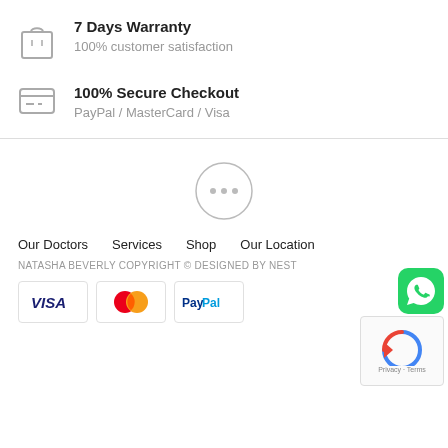[Figure (illustration): Shopping bag icon]
7 Days Warranty
100% customer satisfaction
[Figure (illustration): Credit card icon]
100% Secure Checkout
PayPal / MasterCard / Visa
[Figure (logo): Circle logo with three dots]
Our Doctors   Services   Shop   Our Location
NATASHA BEVERLY COPYRIGHT © DESIGNED BY NEST
[Figure (logo): VISA logo]
[Figure (logo): MasterCard logo]
[Figure (logo): PayPal logo]
[Figure (logo): WhatsApp icon]
[Figure (other): reCAPTCHA Privacy Terms box]